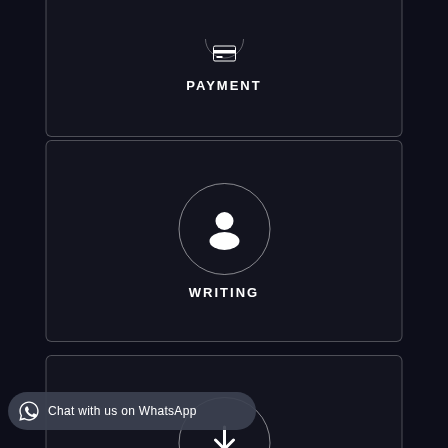[Figure (infographic): Card with partial circle icon at top and PAYMENT label, partially cropped at top]
[Figure (infographic): Card with person/user circle icon and WRITING label]
[Figure (infographic): Card with download circle icon and DELIVERY label (partially cropped at bottom)]
Chat with us on WhatsApp